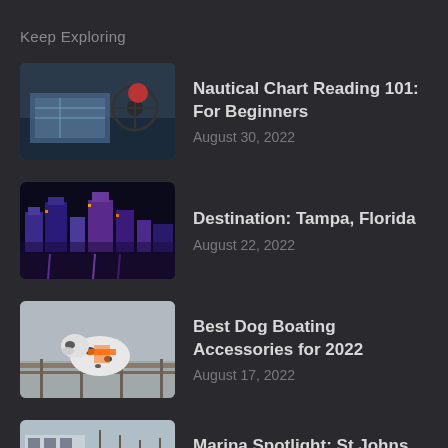Keep Exploring
Nautical Chart Reading 101: For Beginners
August 30, 2022
Destination: Tampa, Florida
August 22, 2022
Best Dog Boating Accessories for 2022
August 17, 2022
Marina Spotlight: St Johns Yacht Harbor
July 22, 2022
Destination: St. Michaels Maryland
July 13, 2022